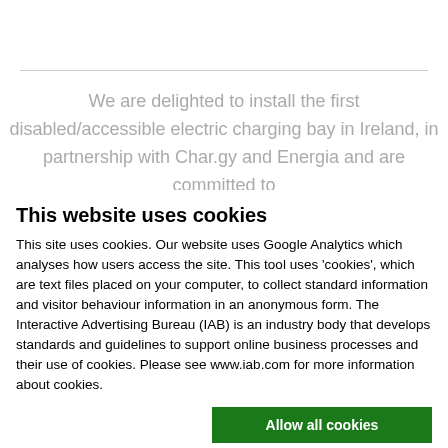We are delighted to install the first disabled/accessible electric charging bay in Ireland, in partnership with Char.gy and Energia and are committed to
This website uses cookies
This site uses cookies. Our website uses Google Analytics which analyses how users access the site. This tool uses 'cookies', which are text files placed on your computer, to collect standard information and visitor behaviour information in an anonymous form. The Interactive Advertising Bureau (IAB) is an industry body that develops standards and guidelines to support online business processes and their use of cookies. Please see www.iab.com for more information about cookies.
Allow all cookies
Allow selection
Use necessary cookies only
Necessary  Preferences  Statistics  Marketing  Show details